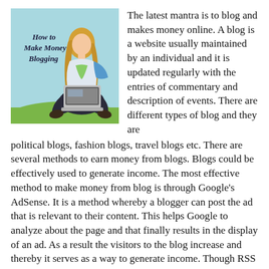[Figure (illustration): Cover image of a woman sitting cross-legged on grass using a laptop, with text overlay reading 'How to Make Money Blogging' on a light blue background.]
The latest mantra is to blog and makes money online. A blog is a website usually maintained by an individual and it is updated regularly with the entries of commentary and description of events. There are different types of blog and they are political blogs, fashion blogs, travel blogs etc. There are several methods to earn money from blogs. Blogs could be effectively used to generate income. The most effective method to make money from blog is through Google's AdSense. It is a method whereby a blogger can post the ad that is relevant to their content. This helps Google to analyze about the page and that finally results in the display of an ad. As a result the visitors to the blog increase and thereby it serves as a way to generate income. Though RSS advertising is a method whereby